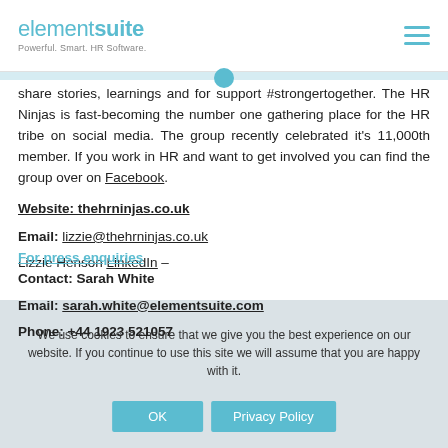elementsuite - Powerful. Smart. HR Software.
share stories, learnings and for support #strongertogether. The HR Ninjas is fast-becoming the number one gathering place for the HR tribe on social media. The group recently celebrated it's 11,000th member. If you work in HR and want to get involved you can find the group over on Facebook.
Website: thehrninjas.co.uk
Email: lizzie@thehrninjas.co.uk
Lizzie Henson LinkedIn –
For press enquiries
Contact: Sarah White
Email: sarah.white@elementsuite.com
Phone: +44 1923 521057
We use cookies to ensure that we give you the best experience on our website. If you continue to use this site we will assume that you are happy with it.